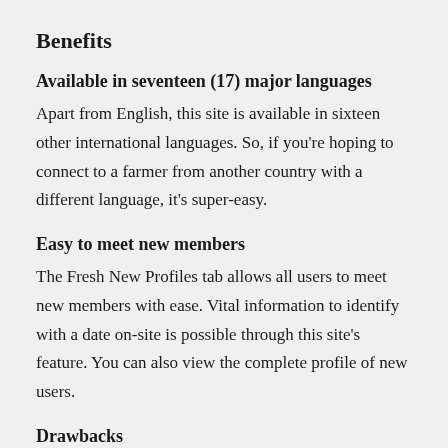Benefits
Available in seventeen (17) major languages
Apart from English, this site is available in sixteen other international languages. So, if you're hoping to connect to a farmer from another country with a different language, it's super-easy.
Easy to meet new members
The Fresh New Profiles tab allows all users to meet new members with ease. Vital information to identify with a date on-site is possible through this site's feature. You can also view the complete profile of new users.
Drawbacks
The only drawback from this site stems from its